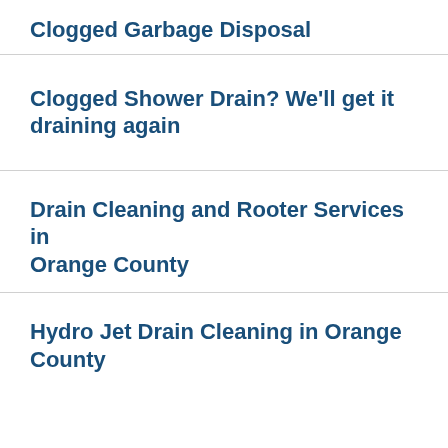Clogged Garbage Disposal
Clogged Shower Drain? We'll get it draining again
Drain Cleaning and Rooter Services in Orange County
Hydro Jet Drain Cleaning in Orange County